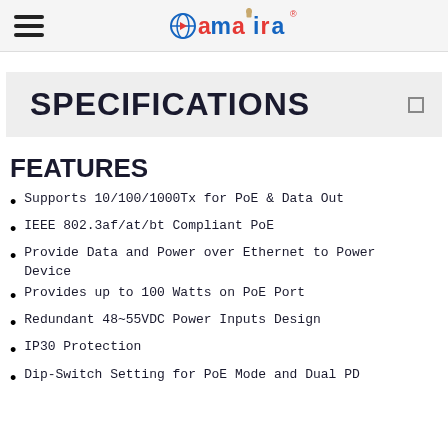amaira logo header
SPECIFICATIONS
FEATURES
Supports 10/100/1000Tx for PoE & Data Out
IEEE 802.3af/at/bt Compliant PoE
Provide Data and Power over Ethernet to Power Device
Provides up to 100 Watts on PoE Port
Redundant 48~55VDC Power Inputs Design
IP30 Protection
Dip-Switch Setting for PoE Mode and Dual PD